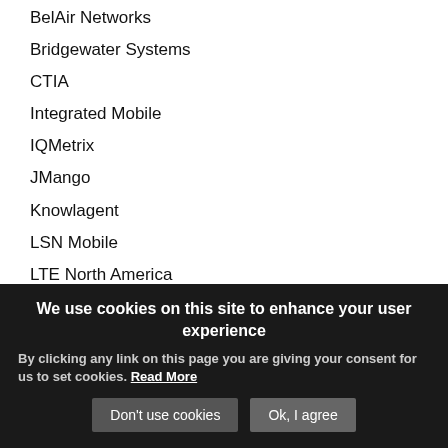BelAir Networks
Bridgewater Systems
CTIA
Integrated Mobile
IQMetrix
JMango
Knowlagent
LSN Mobile
LTE North America
Metrico
mGive
MobileSpring
Navini
Nokia
We use cookies on this site to enhance your user experience
By clicking any link on this page you are giving your consent for us to set cookies. Read More
Don't use cookies | Ok, I agree